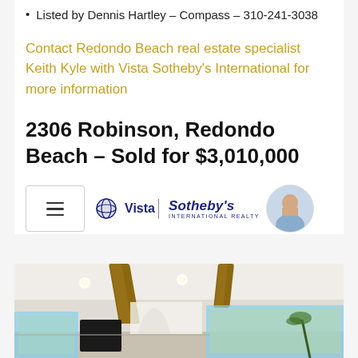Listed by Dennis Hartley – Compass – 310-241-3038
Contact Redondo Beach real estate specialist Keith Kyle with Vista Sotheby's International for more information
2306 Robinson, Redondo Beach – Sold for $3,010,000
[Figure (other): Navigation bar with hamburger menu icon, Vista Sotheby's International Realty logo, and circular agent photo]
[Figure (photo): Interior room photo showing wood beam ceiling, recessed lighting, large windows, and living area]